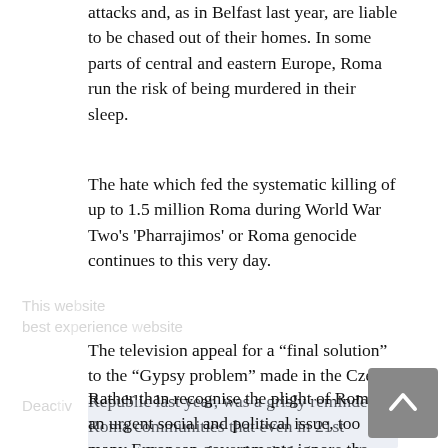attacks and, as in Belfast last year, are liable to be chased out of their homes. In some parts of central and eastern Europe, Roma run the risk of being murdered in their sleep.
The hate which fed the systematic killing of up to 1.5 million Roma during World War Two's 'Pharrajimos' or Roma genocide continues to this very day.
The television appeal for a "final solution" to the "Gypsy problem" made in the Czech Republic last year, was a grisly reminder to Roma communities that even in 21st century Europe, they should keep moving or live in fear.
Rather than recognise the plight of Roma as an urgent social and political issue, too many European governments ignore the application of their own laws, see Roma as primarily the concern of local councils and